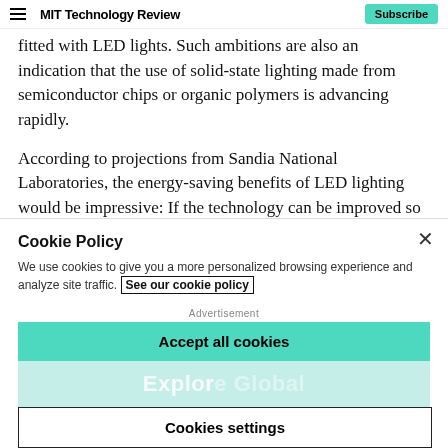MIT Technology Review  Subscribe
...fitted with LED lights. Such ambitions are also an indication that the use of solid-state lighting made from semiconductor chips or organic polymers is advancing rapidly.
According to projections from Sandia National Laboratories, the energy-saving benefits of LED lighting would be impressive: If the technology can be improved so that half of all lighting is solid-state by 2025, it will cut worldwide power use by 120 gigawatts, saving $100 billion a year and reducing carbon dioxide emissions from power plants by 350 megatons a year.
Cookie Policy
We use cookies to give you a more personalized browsing experience and analyze site traffic. See our cookie policy
Accept all cookies
Cookies settings